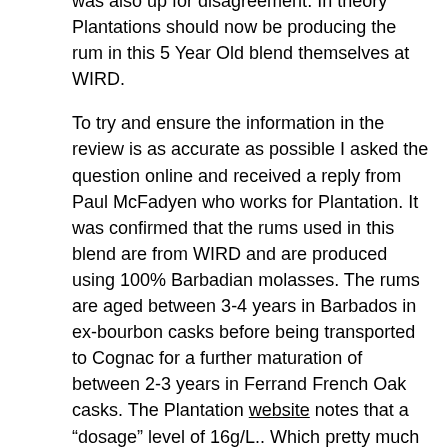was also up for disagreement. In theory Plantations should now be producing the rum in this 5 Year Old blend themselves at WIRD.
To try and ensure the information in the review is as accurate as possible I asked the question online and received a reply from Paul McFadyen who works for Plantation. It was confirmed that the rums used in this blend are from WIRD and are produced using 100% Barbadian molasses. The rums are aged between 3-4 years in Barbados in ex-bourbon casks before being transported to Cognac for a further maturation of between 2-3 years in Ferrand French Oak casks. The Plantation website notes that a “dosage” level of 16g/L.. Which pretty much tallies with my findings of 15g/L
Plantation Barbados Rum Aged 5 Years is a blend of Pot and Column distilled rums the fermentation period is noted as being 3 to 4 days. It is bottled at 40% ABV. It is widely available online in the UK, Europe and US. Plantation Barbados Rum Aged 5 Years retails at around